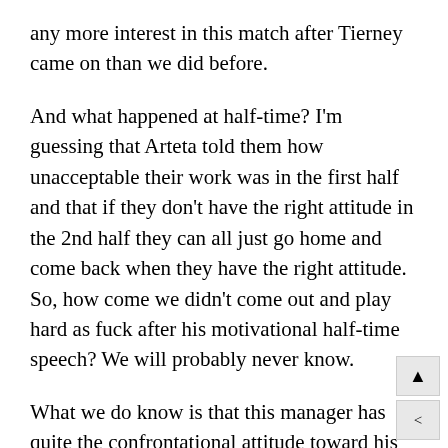any more interest in this match after Tierney came on than we did before.
And what happened at half-time? I'm guessing that Arteta told them how unacceptable their work was in the first half and that if they don't have the right attitude in the 2nd half they can all just go home and come back when they have the right attitude. So, how come we didn't come out and play hard as fuck after his motivational half-time speech? We will probably never know.
What we do know is that this manager has quite the confrontational attitude toward his players. Maybe that's the right approach in the long run. Sir Alex Ferguson was definitely like that and he's the most successful coach ever in England. He also had the purchasing power to just get rid of players he didn't like and he did it all the time. Arsenal don't have